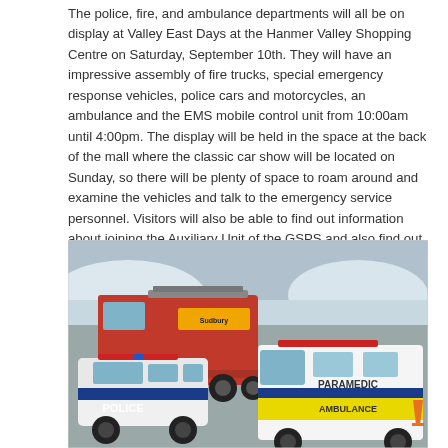The police, fire, and ambulance departments will all be on display at Valley East Days at the Hanmer Valley Shopping Centre on Saturday, September 10th. They will have an impressive assembly of fire trucks, special emergency response vehicles, police cars and motorcycles, an ambulance and the EMS mobile control unit from 10:00am until 4:00pm. The display will be held in the space at the back of the mall where the classic car show will be located on Sunday, so there will be plenty of space to roam around and examine the vehicles and talk to the emergency service personnel. Visitors will also be able to find out information about joining the Auxiliary Unit of the GSPS and also find out how they can become a volunteer firefighter.
[Figure (photo): Photograph showing emergency service vehicles including a red fire truck with Sudbury EMS markings, a white and blue police SUV labeled POLICE, and a white and yellow paramedic ambulance labeled PARAMEDIC / AMBULANCE, parked in a lot with snow visible in the background.]